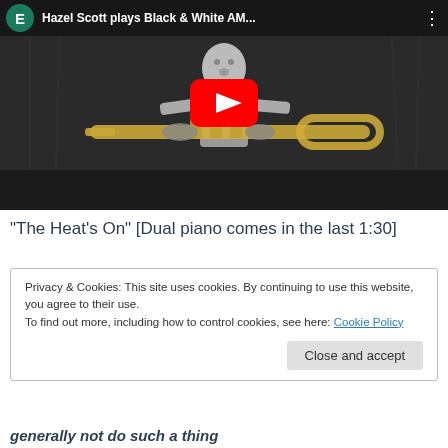[Figure (screenshot): YouTube video thumbnail showing a black and white image of a person playing a trombone/trumpet. The video header shows a green avatar with letter E, title 'Hazel Scott plays Black & White AM...' and a three-dot menu. A red YouTube play button is centered over the thumbnail.]
“The Heat’s On” [Dual piano comes in the last 1:30]
Privacy & Cookies: This site uses cookies. By continuing to use this website, you agree to their use.
To find out more, including how to control cookies, see here: Cookie Policy

Close and accept
generally not do such a thing